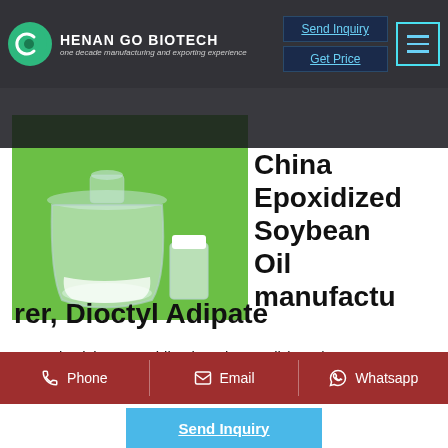HENAN GO BIOTECH — one decade manufacturing and exporting experience
[Figure (photo): Product photo showing glass bottles/vials with clear liquid on a green background, representing Epoxidized Soybean Oil]
China Epoxidized Soybean Oil manufacturer, Dioctyl Adipate
PVC Plasticizer Epoxidized Soybean Oil (ESO) CAS No 8013-07-8 Contact now Cold-Resistant
Phone  Email  Whatsapp  Send Inquiry